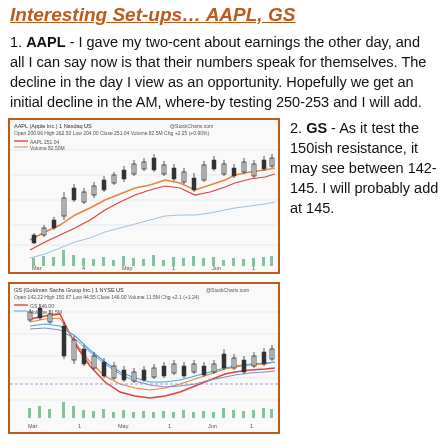Interesting Set-ups… AAPL, GS
1. AAPL - I gave my two-cent about earnings the other day, and all I can say now is that their numbers speak for themselves. The decline in the day I view as an opportunity. Hopefully we get an initial decline in the AM, where-by testing 250-253 and I will add.
[Figure (continuous-plot): AAPL stock chart showing candlestick price action with moving averages (red and orange lines) and volume bars (green) at the bottom. Orange border frame. Time axis spans from March to July.]
2. GS - As it test the 150ish resistance, it may see between 142-145. I will probably add at 145.
[Figure (continuous-plot): GS (Goldman Sachs) stock chart showing candlestick price action with multiple moving averages (blue, red, orange lines) and volume bars (green) at the bottom. Orange border frame. Time axis spans from March to July.]